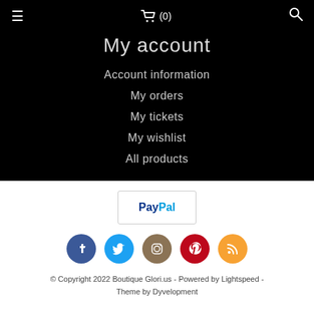☰  🛒 (0)   🔍
My account
Account information
My orders
My tickets
My wishlist
All products
[Figure (logo): PayPal payment button logo]
[Figure (infographic): Social media icons: Facebook (blue), Twitter (light blue), Instagram (tan/brown), Pinterest (red), RSS (orange)]
© Copyright 2022 Boutique Glori.us - Powered by Lightspeed - Theme by Dyvelopment